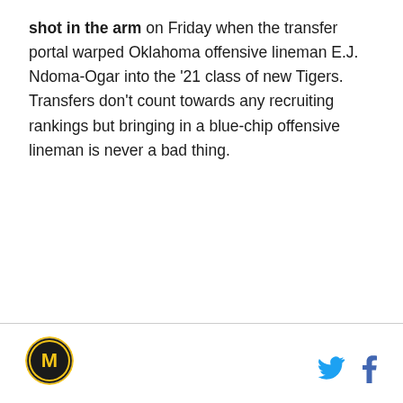shot in the arm on Friday when the transfer portal warped Oklahoma offensive lineman E.J. Ndoma-Ogar into the '21 class of new Tigers. Transfers don't count towards any recruiting rankings but bringing in a blue-chip offensive lineman is never a bad thing.
[Figure (logo): Missouri Tigers circular logo with M letter in gold and black]